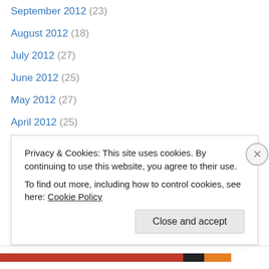September 2012 (23)
August 2012 (18)
July 2012 (27)
June 2012 (25)
May 2012 (27)
April 2012 (25)
March 2012 (26)
February 2012 (25)
January 2012 (28)
December 2011 (27)
November 2011 (26)
October 2011 (27)
September 2011 (26)
Privacy & Cookies: This site uses cookies. By continuing to use this website, you agree to their use. To find out more, including how to control cookies, see here: Cookie Policy